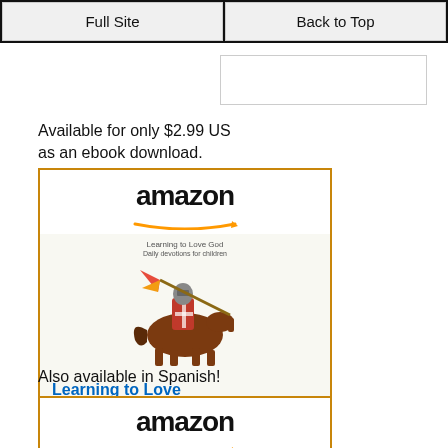Full Site | Back to Top
Available for only $2.99 US as an ebook download.
[Figure (other): Amazon product listing for 'Learning to Love God: Daily...' priced at $2.99 with Shop now button]
Also available in Spanish!
[Figure (other): Amazon product listing (partial) showing amazon logo]